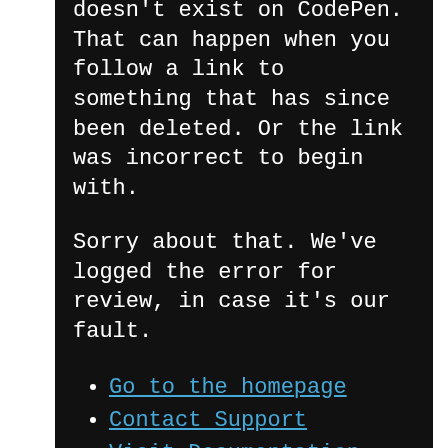doesn't exist on CodePen. That can happen when you follow a link to something that has since been deleted. Or the link was incorrect to begin with.
Sorry about that. We've logged the error for review, in case it's our fault.
Go to the homepage
Contact Support
Visit Documentation
How it works is pretty simple. It's just a recursive call, and on each iteration it draws 2 new boxes at the same angle, but scales their size down, causing it to curl.